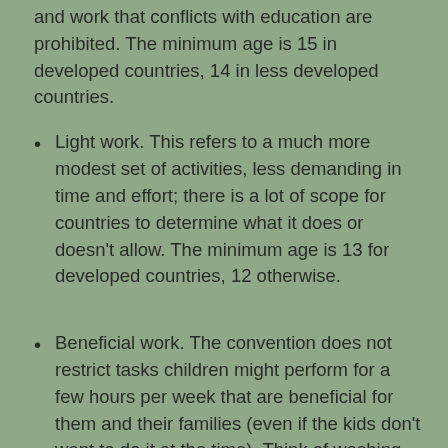and work that conflicts with education are prohibited. The minimum age is 15 in developed countries, 14 in less developed countries.
Light work. This refers to a much more modest set of activities, less demanding in time and effort; there is a lot of scope for countries to determine what it does or doesn't allow. The minimum age is 13 for developed countries, 12 otherwise.
Beneficial work. The convention does not restrict tasks children might perform for a few hours per week that are beneficial for them and their families (even if the kids don't want to do it at the time). Think of washing the dishes after dinner or feeding the chickens in the back yard.
...